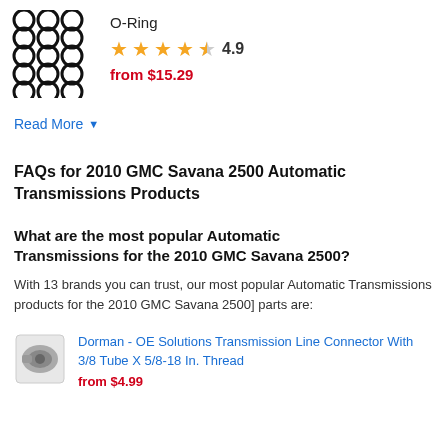[Figure (photo): O-Ring product image grid of black rings]
O-Ring
★★★★☆ 4.9
from $15.29
Read More ▼
FAQs for 2010 GMC Savana 2500 Automatic Transmissions Products
What are the most popular Automatic Transmissions for the 2010 GMC Savana 2500?
With 13 brands you can trust, our most popular Automatic Transmissions products for the 2010 GMC Savana 2500] parts are:
[Figure (photo): Dorman transmission line connector product photo]
Dorman - OE Solutions Transmission Line Connector With 3/8 Tube X 5/8-18 In. Thread
from $4.99